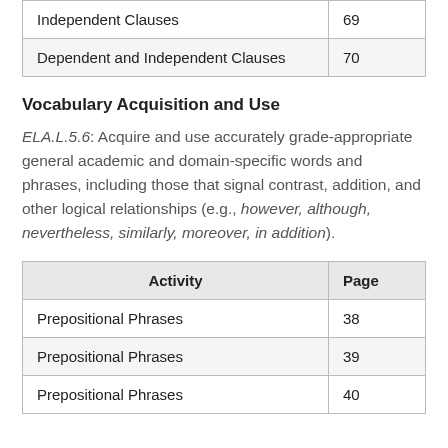| Activity | Page |
| --- | --- |
| Independent Clauses | 69 |
| Dependent and Independent Clauses | 70 |
Vocabulary Acquisition and Use
ELA.L.5.6: Acquire and use accurately grade-appropriate general academic and domain-specific words and phrases, including those that signal contrast, addition, and other logical relationships (e.g., however, although, nevertheless, similarly, moreover, in addition).
| Activity | Page |
| --- | --- |
| Prepositional Phrases | 38 |
| Prepositional Phrases | 39 |
| Prepositional Phrases | 40 |